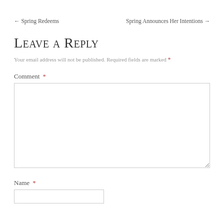← Spring Redeems    Spring Announces Her Intentions →
Leave a Reply
Your email address will not be published. Required fields are marked *
Comment *
Name *